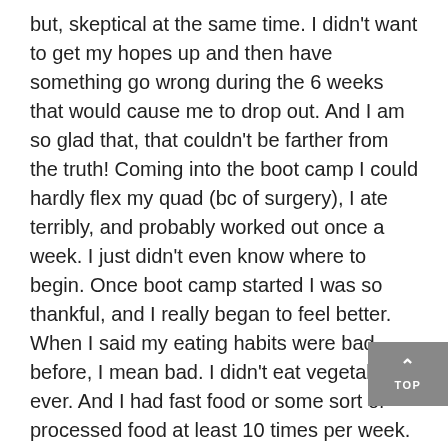but, skeptical at the same time. I didn't want to get my hopes up and then have something go wrong during the 6 weeks that would cause me to drop out. And I am so glad that, that couldn't be farther from the truth! Coming into the boot camp I could hardly flex my quad (bc of surgery), I ate terribly, and probably worked out once a week. I just didn't even know where to begin. Once boot camp started I was so thankful, and I really began to feel better. When I said my eating habits were bad before, I mean bad. I didn't eat vegetables, ever. And I had fast food or some sort of processed food at least 10 times per week. With your help though, now I stay as far from those foods as possible and don't crave them at all. As for the working out portion of the boot camp, I LOVED it. I loved that the weeks seemed to get progressively harder. I loved that you provided assignments. But most of all I loved that you pushed me past points I didn't think I could reach and do things